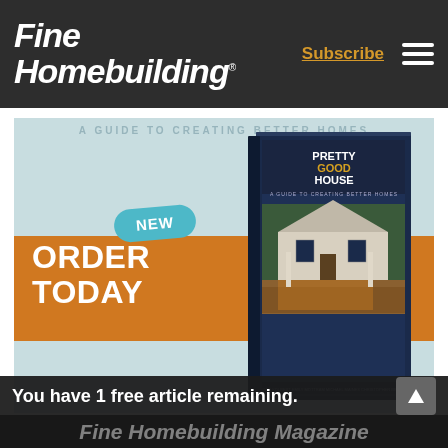Fine Homebuilding Subscribe
[Figure (illustration): Advertisement for Pretty Good House book. Shows a book cover titled 'PRETTY GOOD HOUSE: A Guide to Creating Better Homes' with a home image. A teal badge says 'NEW'. An orange stripe banner reads 'ORDER TODAY'. Background is light blue-gray.]
You have 1 free article remaining. Fine Homebuilding Magazine